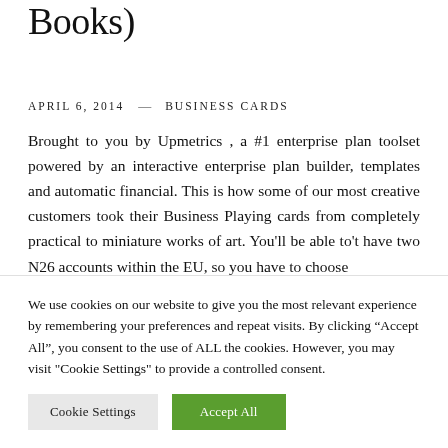Books)
APRIL 6, 2014  —  BUSINESS CARDS
Brought to you by Upmetrics , a #1 enterprise plan toolset powered by an interactive enterprise plan builder, templates and automatic financial. This is how some of our most creative customers took their Business Playing cards from completely practical to miniature works of art. You'll be able to't have two N26 accounts within the EU, so you have to choose
We use cookies on our website to give you the most relevant experience by remembering your preferences and repeat visits. By clicking "Accept All", you consent to the use of ALL the cookies. However, you may visit "Cookie Settings" to provide a controlled consent.